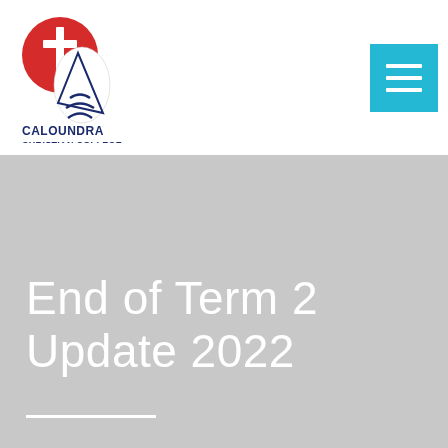[Figure (logo): Caloundra Christian College logo: red circle with white cross and sail/book graphic, text reading CALOUNDRA CHRISTIAN COLLEGE in dark navy]
[Figure (other): Cyan/teal hamburger menu button with three white horizontal lines]
[Figure (photo): Large grey hero image background]
End of Term 2 Update 2022